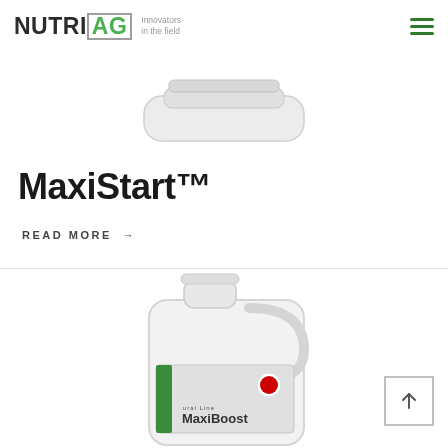NUTRI AG — Innovators in the field
[Figure (photo): Partial view of a white plastic container (lid/top portion), cropped at top]
MaxiStart™
READ MORE →
[Figure (photo): White plastic jug/container labeled MaxiBoost with a Canadian maple leaf logo and a green label strip reading 'MaxiBoost']